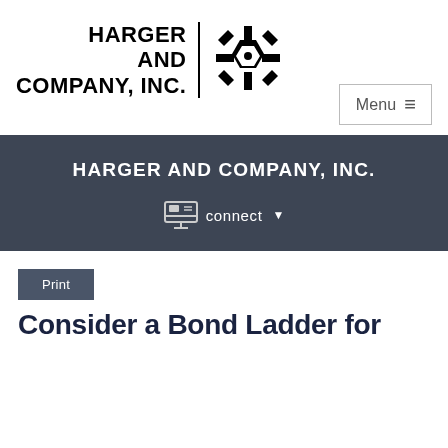[Figure (logo): Harger and Company, Inc. logo with company name in bold black text and a geometric snowflake/asterisk icon, separated by a vertical line]
[Figure (screenshot): Menu button with hamburger icon in top right]
HARGER AND COMPANY, INC.
connect
Print
Consider a Bond Ladder for